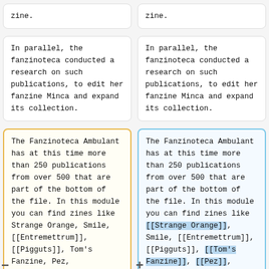zine.
zine.
In parallel, the fanzinoteca conducted a research on such publications, to edit her fanzine Minca and expand its collection.
In parallel, the fanzinoteca conducted a research on such publications, to edit her fanzine Minca and expand its collection.
The Fanzinoteca Ambulant has at this time more than 250 publications from over 500 that are part of the bottom of the file. In this module you can find zines like Strange Orange, Smile, [[Entremettrum]], [[Pigguts]], Tom's Fanzine, Pez,
The Fanzinoteca Ambulant has at this time more than 250 publications from over 500 that are part of the bottom of the file. In this module you can find zines like [[Strange Orange]], Smile, [[Entremettrum]], [[Pigguts]], [[Tom's Fanzine]], [[Pez]],